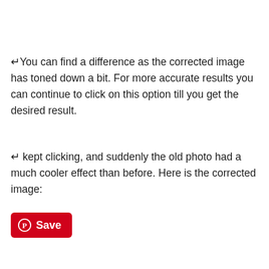You can find a difference as the corrected image has toned down a bit. For more accurate results you can continue to click on this option till you get the desired result.
I kept clicking, and suddenly the old photo had a much cooler effect than before. Here is the corrected image:
[Figure (other): A red Pinterest Save button with Pinterest logo icon]